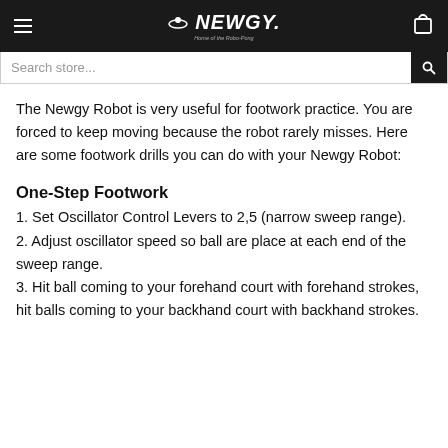Newgy - Home of the Robo-Pong
The Newgy Robot is very useful for footwork practice. You are forced to keep moving because the robot rarely misses. Here are some footwork drills you can do with your Newgy Robot:
One-Step Footwork
1. Set Oscillator Control Levers to 2,5 (narrow sweep range).
2. Adjust oscillator speed so ball are place at each end of the sweep range.
3. Hit ball coming to your forehand court with forehand strokes, hit balls coming to your backhand court with backhand strokes.